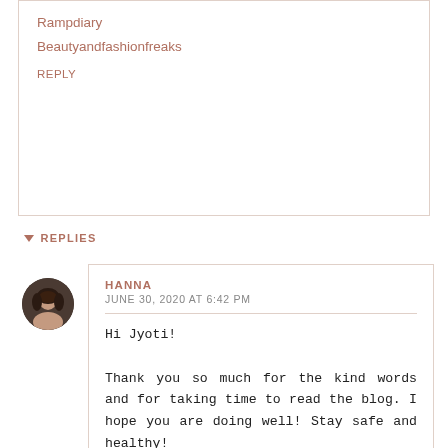Rampdiary
Beautyandfashionfreaks
REPLY
▼ REPLIES
[Figure (photo): Circular avatar photo of a woman with dark hair]
HANNA
JUNE 30, 2020 AT 6:42 PM
Hi Jyoti!

Thank you so much for the kind words and for taking time to read the blog. I hope you are doing well! Stay safe and healthy!

▲

Cheers,